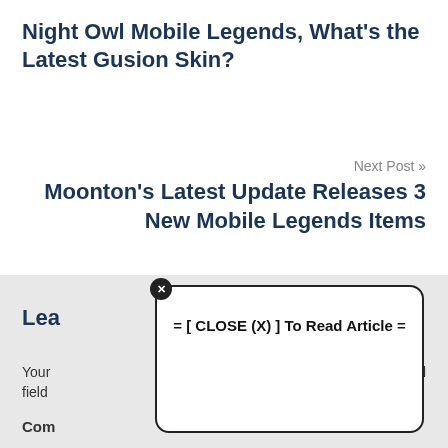Night Owl Mobile Legends, What's the Latest Gusion Skin?
Next Post »
Moonton's Latest Update Releases 3 New Mobile Legends Items
Lea
Your
uired field
Com
[Figure (screenshot): Modal popup dialog with close button (X circle icon) and text '= [ CLOSE (X) ] To Read Article =']